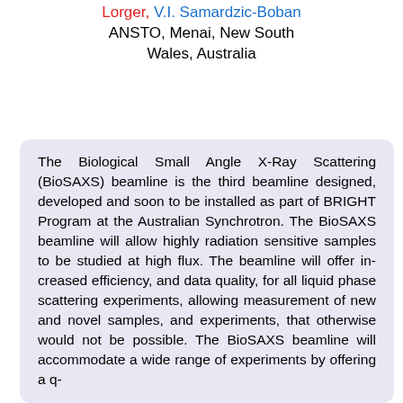Lorger, V.I. Samardzic-Boban
ANSTO, Menai, New South Wales, Australia
The Biological Small Angle X-Ray Scattering (BioSAXS) beamline is the third beamline designed, developed and soon to be installed as part of BRIGHT Program at the Australian Synchrotron. The BioSAXS beamline will allow highly radiation sensitive samples to be studied at high flux. The beamline will offer increased efficiency, and data quality, for all liquid phase scattering experiments, allowing measurement of new and novel samples, and experiments, that otherwise would not be possible. The BioSAXS beamline will accommodate a wide range of experiments by offering a q-